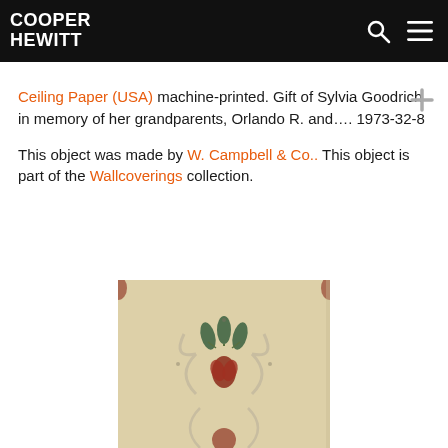COOPER HEWITT
Ceiling Paper (USA) machine-printed. Gift of Sylvia Goodrich in memory of her grandparents, Orlando R. and.... 1973-32-8
This object was made by W. Campbell & Co.. This object is part of the Wallcoverings collection.
[Figure (photo): Photo of a ceiling paper sample showing a repeating art nouveau floral pattern with red and green flowers on a beige/cream background]